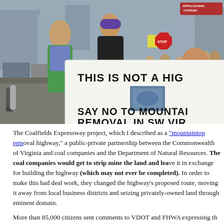[Figure (photo): Protest photo showing demonstrators holding a large banner that reads 'THIS IS NOT A HIGH[WAY]' and 'SAY NO TO MOUNTAI[NTOP] REMOVAL IN SW VIRG[INIA]'. Protesters are marching on an urban street. A woman in a green jacket and purple beanie is prominent in the foreground.]
The Coalfields Expressway project, which I described as a "mountaintop rem[oval highway,]" a public-private partnership between the Commonwealth of Virginia and coal[...] Resources. The coal companies would get to strip mine the land and lea[ve...] (which may not ever be completed). In order to make this bad deal work, t[hey changed] the highway's proposed route, moving it away from local business districts a[nd...] privately-owned land through eminent domain.
More than 85,000 citizens sent comments to VDOT and FHWA expressing th[eir opposition...]